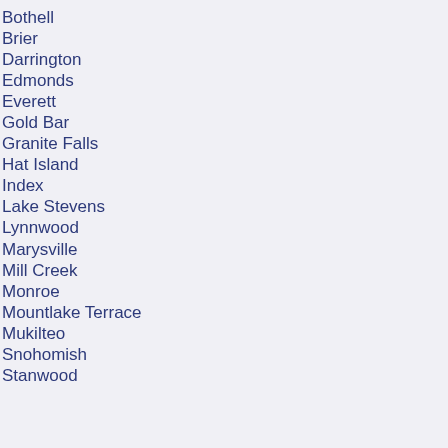Bothell
Brier
Darrington
Edmonds
Everett
Gold Bar
Granite Falls
Hat Island
Index
Lake Stevens
Lynnwood
Marysville
Mill Creek
Monroe
Mountlake Terrace
Mukilteo
Snohomish
Stanwood